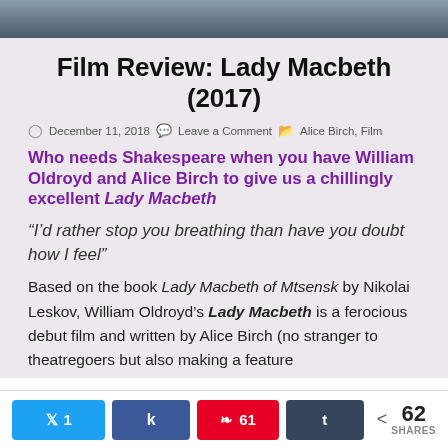[Figure (photo): Top image strip showing partial photo, likely film related]
Film Review: Lady Macbeth (2017)
December 11, 2018   Leave a Comment   Alice Birch, Film
Who needs Shakespeare when you have William Oldroyd and Alice Birch to give us a chillingly excellent Lady Macbeth
“I’d rather stop you breathing than have you doubt how I feel”
Based on the book Lady Macbeth of Mtsensk by Nikolai Leskov, William Oldroyd’s Lady Macbeth is a ferocious debut film and written by Alice Birch (no stranger to theatregoers but also making a feature
1  [share buttons]  61  [tumblr]  62 SHARES